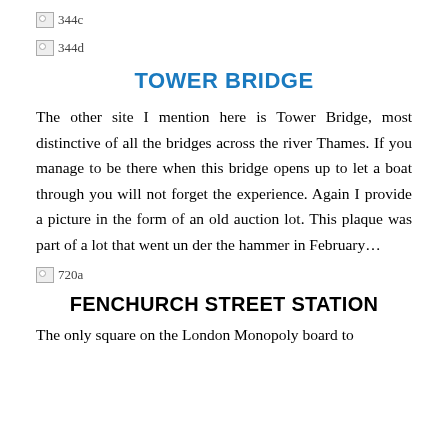[Figure (photo): Broken image placeholder labeled 344c]
[Figure (photo): Broken image placeholder labeled 344d]
TOWER BRIDGE
The other site I mention here is Tower Bridge, most distinctive of all the bridges across the river Thames. If you manage to be there when this bridge opens up to let a boat through you will not forget the experience. Again I provide a picture in the form of an old auction lot. This plaque was part of a lot that went un der the hammer in February…
[Figure (photo): Broken image placeholder labeled 720a]
FENCHURCH STREET STATION
The only square on the London Monopoly board to